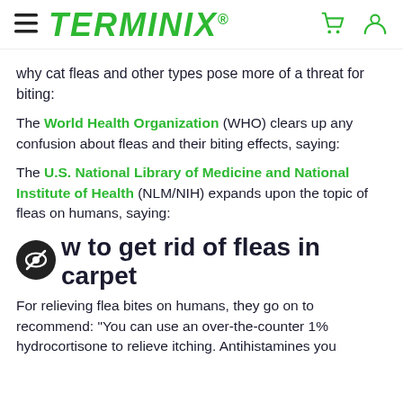TERMINIX
why cat fleas and other types pose more of a threat for biting:
The World Health Organization (WHO) clears up any confusion about fleas and their biting effects, saying:
The U.S. National Library of Medicine and National Institute of Health (NLM/NIH) expands upon the topic of fleas on humans, saying:
how to get rid of fleas in carpet
For relieving flea bites on humans, they go on to recommend: "You can use an over-the-counter 1% hydrocortisone to relieve itching. Antihistamines you